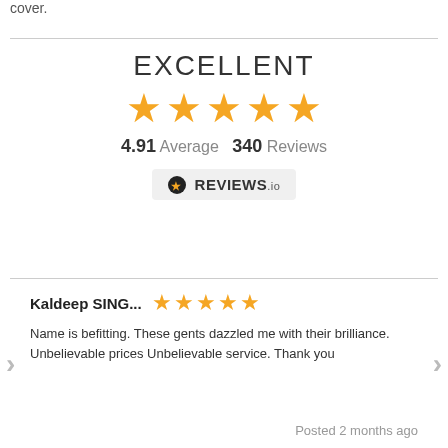cover.
[Figure (infographic): EXCELLENT rating with 5 orange stars, 4.91 Average, 340 Reviews, REVIEWS.io badge]
Kaldeep SING...  ★★★★★
Name is befitting. These gents dazzled me with their brilliance. Unbelievable prices Unbelievable service. Thank you
Posted 2 months ago